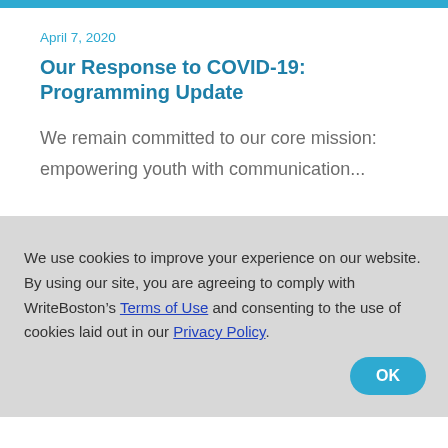April 7, 2020
Our Response to COVID-19: Programming Update
We remain committed to our core mission: empowering youth with communication...
We use cookies to improve your experience on our website. By using our site, you are agreeing to comply with WriteBoston’s Terms of Use and consenting to the use of cookies laid out in our Privacy Policy.